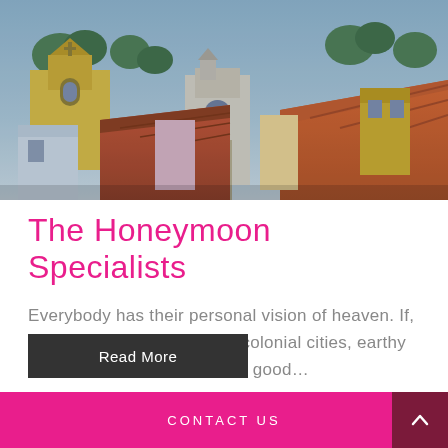[Figure (photo): Aerial view of a colorful colonial city with red-tiled rooftops, yellow church, and lush green trees in the background, with a dusky blue-purple sky.]
The Honeymoon Specialists
Everybody has their personal vision of heaven. If, like us, you enjoy romantic colonial cities, earthy adventure, remote outposts, good…
Read More
CONTACT US